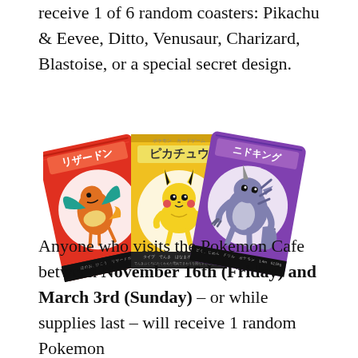receive 1 of 6 random coasters: Pikachu & Eevee, Ditto, Venusaur, Charizard, Blastoise, or a special secret design.
[Figure (photo): Three Pokemon coasters/cards fanned out: a red Charizard card with Japanese text 'リザードン', a yellow Pikachu card with Japanese text 'ピカチュウ', and a purple Nidoking card with Japanese text 'ニドキング'. Each card has a circular white background with the Pokemon illustrated on it, and stats at the bottom.]
Anyone who visits the Pokemon Cafe between November 16th (Friday) and March 3rd (Sunday) – or while supplies last – will receive 1 random Pokemon